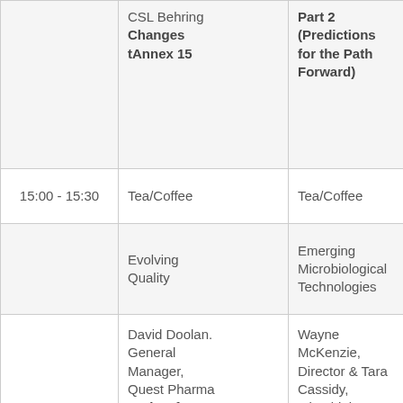| Time | Session Column 1 | Session Column 2 | Session Column 3 |
| --- | --- | --- | --- |
|  | CSL Behring
Changes tAnnex 15 | Part 2 (Predictions for the Path Forward) |  |
| 15:00 - 15:30 | Tea/Coffee | Tea/Coffee |  |
|  | Evolving Quality | Emerging Microbiological Technologies |  |
| 15:30 - 16:00 | David Doolan. General Manager, Quest Pharma
A View from the Trenches, Evolving | Wayne McKenzie, Director & Tara Cassidy, Microbial Diversity Specialist, |  |